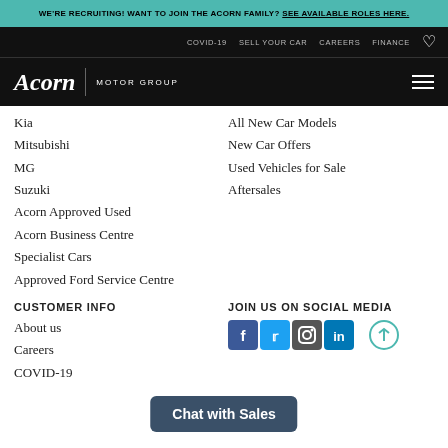WE'RE RECRUITING! WANT TO JOIN THE ACORN FAMILY? SEE AVAILABLE ROLES HERE.
COVID-19  SELL YOUR CAR  CAREERS  FINANCE
[Figure (logo): Acorn Motor Group logo with hamburger menu icon]
Kia
Mitsubishi
MG
Suzuki
Acorn Approved Used
Acorn Business Centre
Specialist Cars
Approved Ford Service Centre
All New Car Models
New Car Offers
Used Vehicles for Sale
Aftersales
CUSTOMER INFO
JOIN US ON SOCIAL MEDIA
About us
Careers
COVID-19
[Figure (logo): Social media icons: Facebook, Twitter, Instagram, LinkedIn]
Chat with Sales